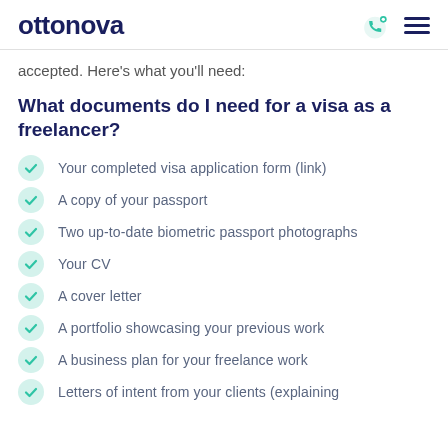ottonova
accepted. Here's what you'll need:
What documents do I need for a visa as a freelancer?
Your completed visa application form (link)
A copy of your passport
Two up-to-date biometric passport photographs
Your CV
A cover letter
A portfolio showcasing your previous work
A business plan for your freelance work
Letters of intent from your clients (explaining